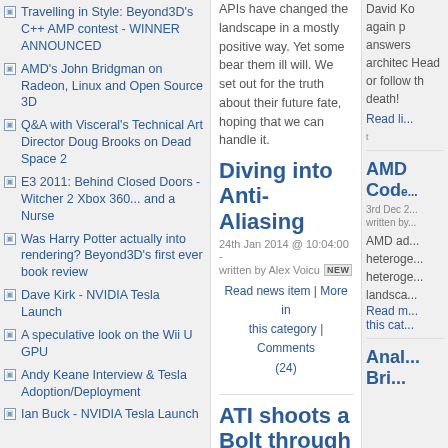Travelling in Style: Beyond3D's C++ AMP contest - WINNER ANNOUNCED
AMD's John Bridgman on Radeon, Linux and Open Source 3D
Q&A with Visceral's Technical Art Director Doug Brooks on Dead Space 2
E3 2011: Behind Closed Doors - Witcher 2 Xbox 360... and a Nurse
Was Harry Potter actually into rendering? Beyond3D's first ever book review
Dave Kirk - NVIDIA Tesla Launch
A speculative look on the Wii U GPU
Andy Keane Interview & Tesla Adoption/Deployment
Ian Buck - NVIDIA Tesla Launch
APIs have changed the landscape in a mostly positive way. Yet some bear them ill will. We set out for the truth about their future fate, hoping that we can handle it.
Diving into Anti-Aliasing
24th Jan 2014 @ 10:04:00 - written by Alex Voicu
Read news item | More in this category | Comments (24)
ATI shoots a Bolt through its GPU compute stack
4th Dec 2012 @ 12:00:00 - written by Alex Voicu
In an attempt to rekindle embers long thought
David K... again p... answers... architec... Head or... follow th... death!
Read li...
AMD Code...
3rd Dec 2...
written by...
AMD ad... heteroge... heteroge... landsca...
Read m... this cat...
Anal... Bri...